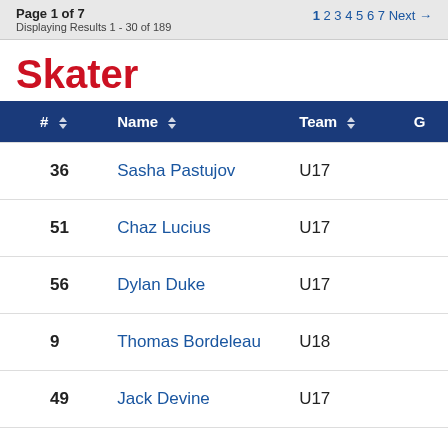Page 1 of 7
Displaying Results 1 - 30 of 189
1 2 3 4 5 6 7 Next →
Skater
| # | Name | Team | G |
| --- | --- | --- | --- |
| 36 | Sasha Pastujov | U17 |  |
| 51 | Chaz Lucius | U17 |  |
| 56 | Dylan Duke | U17 |  |
| 9 | Thomas Bordeleau | U18 |  |
| 49 | Jack Devine | U17 |  |
| 19 | Matthew Porier | U18 |  |